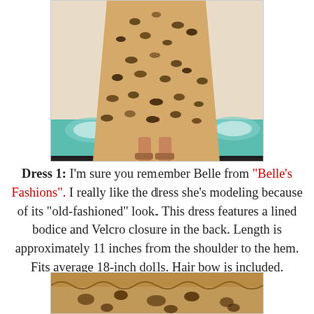[Figure (photo): A doll wearing a leopard print dress standing on a teal patterned rug surface. The doll has bare feet visible below the long dress hem.]
Dress 1: I'm sure you remember Belle from "Belle's Fashions". I really like the dress she's modeling because of its "old-fashioned" look. This dress features a lined bodice and Velcro closure in the back. Length is approximately 11 inches from the shoulder to the hem. Fits average 18-inch dolls. Hair bow is included.
[Figure (photo): Bottom portion of another doll wearing a lace or patterned dress, showing the dress bodice area.]